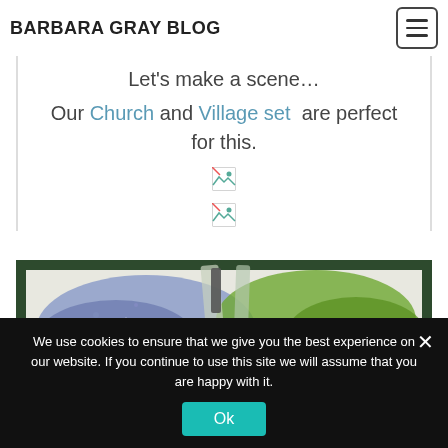BARBARA GRAY BLOG
Let's make a scene…
Our Church and Village set are perfect for this.
[Figure (photo): Broken image placeholder icon 1]
[Figure (photo): Broken image placeholder icon 2]
[Figure (photo): Photo of watercolor painting in progress showing blue and green painted card on cutting mat with ruler/tool]
We use cookies to ensure that we give you the best experience on our website. If you continue to use this site we will assume that you are happy with it.